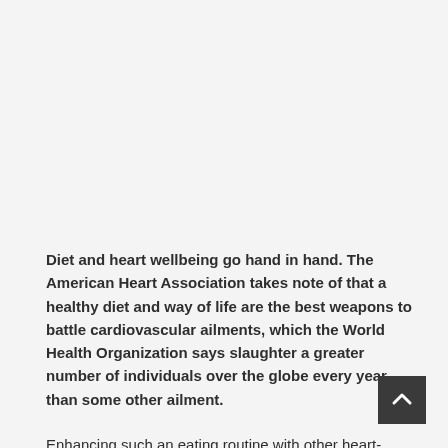Diet and heart wellbeing go hand in hand. The American Heart Association takes note of that a healthy diet and way of life are the best weapons to battle cardiovascular ailments, which the World Health Organization says slaughter a greater number of individuals over the globe every year than some other ailment.
Enhancing such an eating routine with other heart-healthy foods is an extraordinary method to diminish one's hazard for cardiovascular malady.